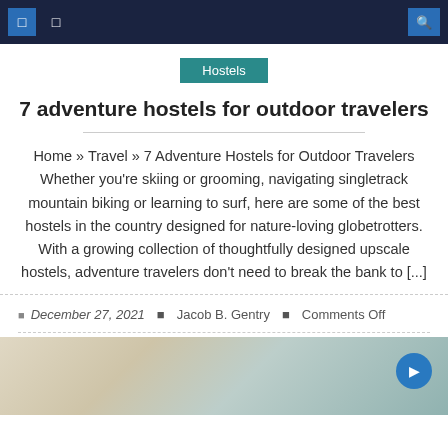Navigation bar with menu icons and search
Hostels
7 adventure hostels for outdoor travelers
Home » Travel » 7 Adventure Hostels for Outdoor Travelers Whether you're skiing or grooming, navigating singletrack mountain biking or learning to surf, here are some of the best hostels in the country designed for nature-loving globetrotters. With a growing collection of thoughtfully designed upscale hostels, adventure travelers don't need to break the bank to [...]
December 27, 2021   Jacob B. Gentry   Comments Off
[Figure (photo): Partial view of travel-related imagery at the bottom of the page]